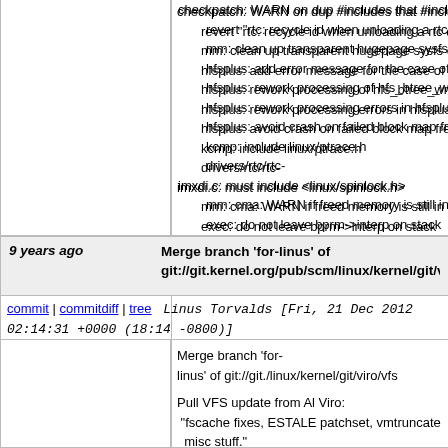checkpatch: WARN on dup #includes that #includ...
revert 'rtc: recycle id when unloading a rtc driver'
mm: clean up transparent hugepage sysfs error...
hfsplus: add error message for the case of failure...
hfsplus: rework processing of hfs_btree_write() r...
hfsplus: rework processing errors in hfsplus_free...
hfsplus: avoid crash on failed block map free
kcmp: include linux/ptrace.h
drivers/rtc/rtc-
imxdi.c: must include <linux/spinlock.h>
    mm: cma: WARN if freed memory is still in use
    exec: do not leave bprm->interp on stack
    ...
9 years ago   Merge branch 'for-linus' of git://git.kernel.org/pub/scm/linux/kernel/git/viro/vfs
commit | commitdiff | tree   Linus Torvalds [Fri, 21 Dec 2012 02:14:31 +0000 (18:14 -0800)]
Merge branch 'for-linus' of git://git./linux/kernel/git/viro/vfs

Pull VFS update from Al Viro:
 "fscache fixes, ESTALE patchset, vmtruncate rem...
  misc stuff."

* 'for-linus' of git://git.kernel.org/pub/scm/linux/kernel/git...
    vfs: make lremovexattr retry once on ESTALE er...